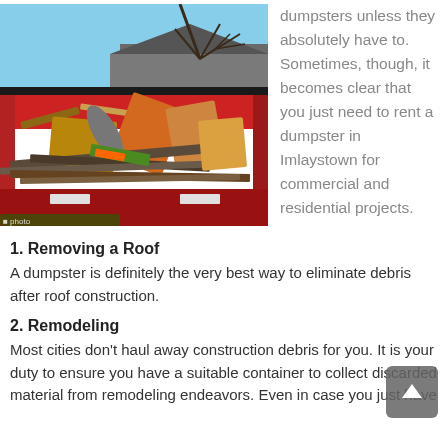[Figure (photo): A red dumpster filled with construction debris, cardboard boxes, and miscellaneous waste, photographed outdoors with bare trees and a building visible in the background against a blue sky.]
dumpsters unless they absolutely have to. Sometimes, though, it becomes clear that you just need to rent a dumpster in Imlaystown for commercial and residential projects.
1. Removing a Roof
A dumpster is definitely the very best way to eliminate debris after roof construction.
2. Remodeling
Most cities don't haul away construction debris for you. It is your duty to ensure you have a suitable container to collect discarded material from remodeling endeavors. Even in case you just have